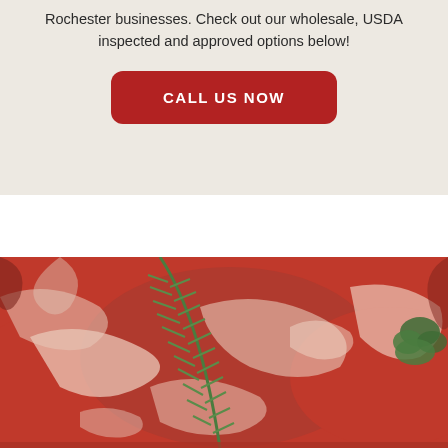Rochester businesses. Check out our wholesale, USDA inspected and approved options below!
[Figure (other): Red call-to-action button with white text reading 'CALL US NOW' on a beige/tan background]
[Figure (photo): Close-up photograph of raw red marbled beef/steaks with a sprig of fresh rosemary herb and green garnish]